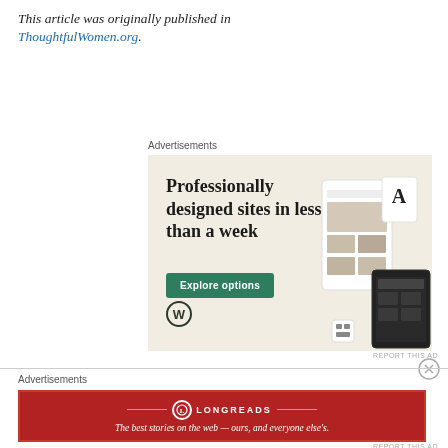This article was originally published in ThoughtfulWomen.org.
Advertisements
[Figure (screenshot): WordPress advertisement: 'Professionally designed sites in less than a week' with green 'Explore options' button and website mockup images on beige background.]
REPORT THIS AD
Advertisements
[Figure (illustration): Longreads red advertisement banner: 'The best stories on the web — ours, and everyone else's.']